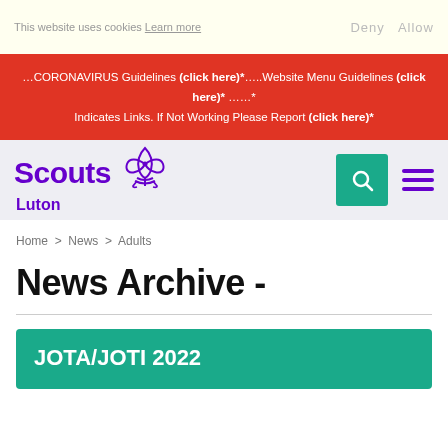This website uses cookies  Learn more    Deny  Allow
...CORONAVIRUS Guidelines (click here)*…..Website Menu Guidelines (click here)* ……* Indicates Links. If Not Working Please Report (click here)*
[Figure (logo): Scouts Luton logo with fleur-de-lis symbol, search icon and hamburger menu]
Home > News > Adults
News Archive -
JOTA/JOTI 2022